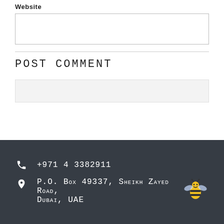Website
[Website input field]
Post Comment
[Search/input bar]
+971 4 3382911 | P.O. Box 49337, Sheikh Zayed Road, Dubai, UAE